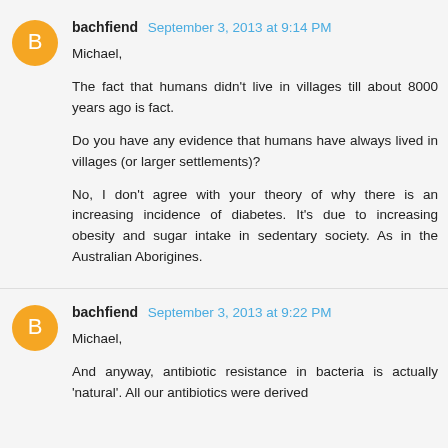bachfiend September 3, 2013 at 9:14 PM
Michael,

The fact that humans didn't live in villages till about 8000 years ago is fact.

Do you have any evidence that humans have always lived in villages (or larger settlements)?

No, I don't agree with your theory of why there is an increasing incidence of diabetes. It's due to increasing obesity and sugar intake in sedentary society. As in the Australian Aborigines.
bachfiend September 3, 2013 at 9:22 PM
Michael,

And anyway, antibiotic resistance in bacteria is actually 'natural'. All our antibiotics were derived